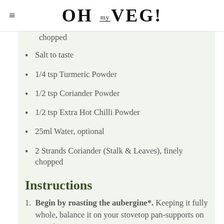OH my VEG!
chopped
Salt to taste
1/4 tsp Turmeric Powder
1/2 tsp Coriander Powder
1/2 tsp Extra Hot Chilli Powder
25ml Water, optional
2 Strands Coriander (Stalk & Leaves), finely chopped
Instructions
Begin by roasting the aubergine*. Keeping it fully whole, balance it on your stovetop pan-supports on top of